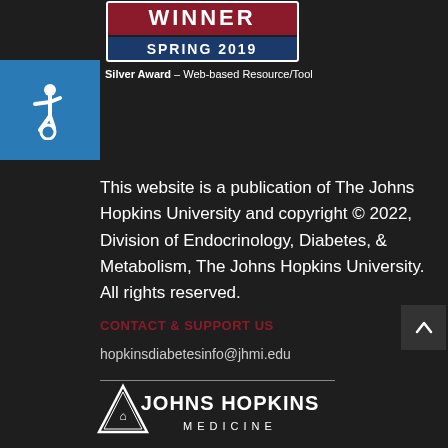[Figure (logo): Winner Spring 2019 award badge with red WINNER text and blue SPRING 2019 bar]
Silver Award – Web-based Resource/Tool
[Figure (illustration): Blue accessibility wheelchair icon on blue square background]
This website is a publication of The Johns Hopkins University and copyright © 2022, Division of Endocrinology, Diabetes, & Metabolism, The Johns Hopkins University. All rights reserved.
CONTACT & SUPPORT US
hopkinsdiabetesinfo@jhmi.edu
[Figure (logo): Johns Hopkins Medicine logo with triangular shield icon and JOHNS HOPKINS MEDICINE text]